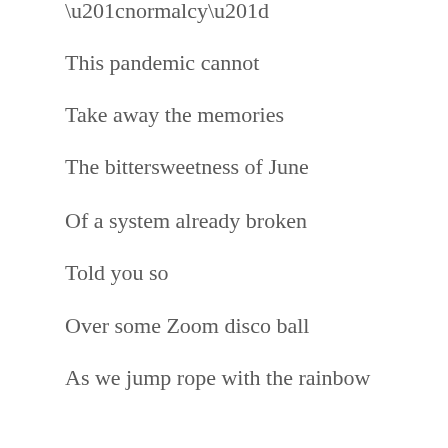“normalcy”
This pandemic cannot
Take away the memories
The bittersweetness of June
Of a system already broken
Told you so
Over some Zoom disco ball
As we jump rope with the rainbow
—Karen Finley, Artist
@the_yam_mam
During times of crisis you see the best in people. We have come